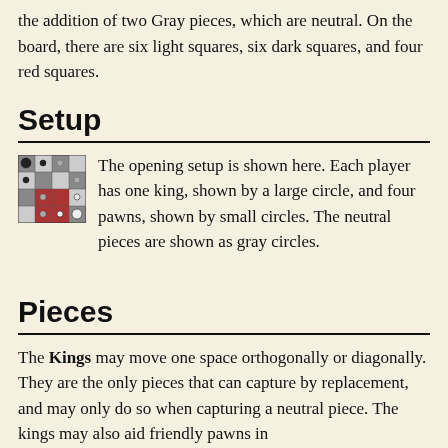the addition of two Gray pieces, which are neutral. On the board, there are six light squares, six dark squares, and four red squares.
Setup
[Figure (illustration): Small 4x4 checkerboard grid showing opening setup with dark, light, and red squares containing piece circles]
The opening setup is shown here. Each player has one king, shown by a large circle, and four pawns, shown by small circles. The neutral pieces are shown as gray circles.
Pieces
The Kings may move one space orthogonally or diagonally. They are the only pieces that can capture by replacement, and may only do so when capturing a neutral piece. The kings may also aid friendly pawns in